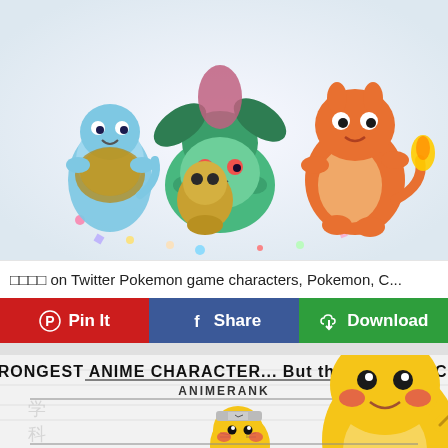[Figure (illustration): Fan art illustration of Pokemon characters including Squirtle, Bulbasaur, Charmander and others grouped together with colorful confetti]
□□□□ on Twitter Pokemon game characters, Pokemon, C...
Pin It | Share | Download
[Figure (illustration): Anime meme image titled 'STRONGEST ANIME CHARACTER... But they are PIKACHU' with ANIMERANK subtitle, showing Pikachu characters dressed as various anime characters including Naruto, on a manga-style background]